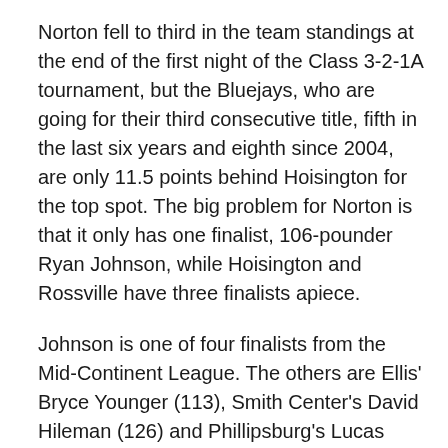Norton fell to third in the team standings at the end of the first night of the Class 3-2-1A tournament, but the Bluejays, who are going for their third consecutive title, fifth in the last six years and eighth since 2004, are only 11.5 points behind Hoisington for the top spot. The big problem for Norton is that it only has one finalist, 106-pounder Ryan Johnson, while Hoisington and Rossville have three finalists apiece.
Johnson is one of four finalists from the Mid-Continent League. The others are Ellis' Bryce Younger (113), Smith Center's David Hileman (126) and Phillipsburg's Lucas Jacobs (220). Jacobs is the Panthers only wrestler in the state tournament, making Phillipsburg one of four schools with only one wrestler at the state tournament who is in a final. The others are Hoxie's Tristan Porsch (132), Greeley